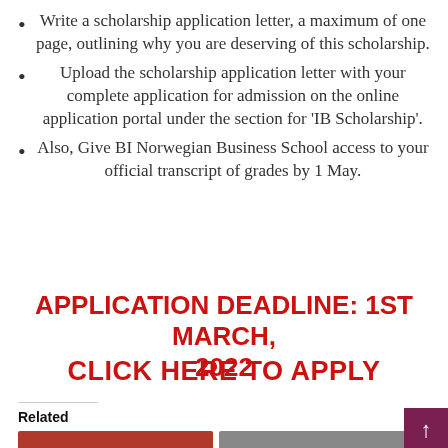Write a scholarship application letter, a maximum of one page, outlining why you are deserving of this scholarship.
Upload the scholarship application letter with your complete application for admission on the online application portal under the section for ‘IB Scholarship’.
Also, Give BI Norwegian Business School access to your official transcript of grades by 1 May.
APPLICATION DEADLINE: 1ST MARCH, 2022
CLICK HERE TO APPLY
Related